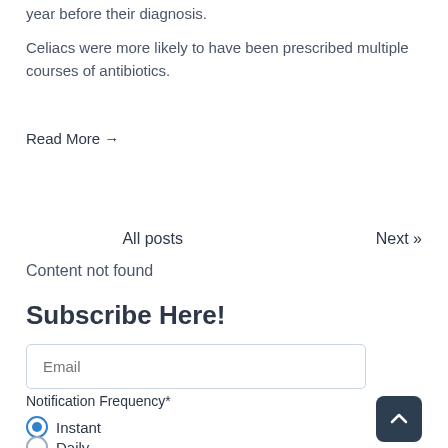year before their diagnosis.
Celiacs were more likely to have been prescribed multiple courses of antibiotics.
Read More →
All posts
Next »
Content not found
Subscribe Here!
Email
Notification Frequency*
Instant
Daily